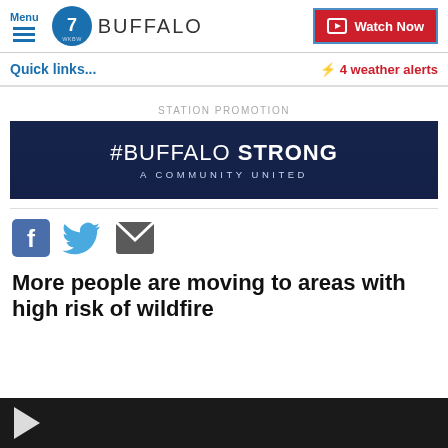Menu | 7 WKBW BUFFALO | Watch Now
Quick links...
⚡ 4 weather alerts
STATION PROMOTION
[Figure (illustration): #BUFFALO STRONG - A COMMUNITY UNITED banner on dark blue background]
[Figure (infographic): Social share icons: Facebook, Twitter, Email]
More people are moving to areas with high risk of wildfire
[Figure (photo): Dark strip at bottom of page, partially visible image with play arrow]